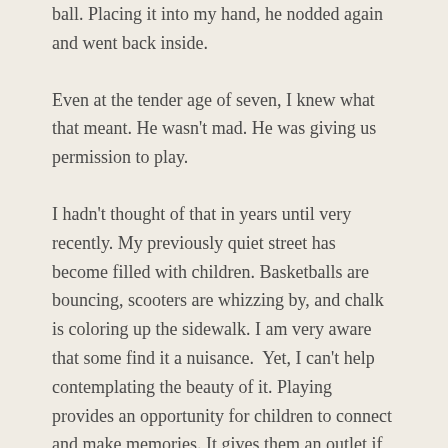ball. Placing it into my hand, he nodded again and went back inside.
Even at the tender age of seven, I knew what that meant. He wasn't mad. He was giving us permission to play.
I hadn't thought of that in years until very recently. My previously quiet street has become filled with children. Basketballs are bouncing, scooters are whizzing by, and chalk is coloring up the sidewalk. I am very aware that some find it a nuisance.  Yet, I can't help contemplating the beauty of it. Playing provides an opportunity for children to connect and make memories. It gives them an outlet if they're feeling anxious. And it allows them to embrace the fleeting